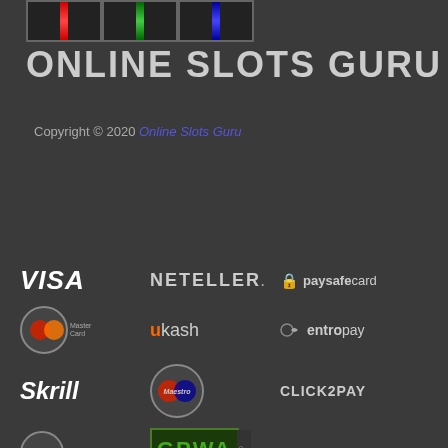[Figure (logo): Online Slots Guru logo with slot machine reels showing red, green, blue bars and site name text]
Copyright © 2020 Online Slots Guru
[Figure (infographic): Payment method logos: VISA, Neteller, paysafecard, MasterCard, uKash, entropay, Skrill, Maestro, CLICK2PAY, 18+ badge, GPWA badge]